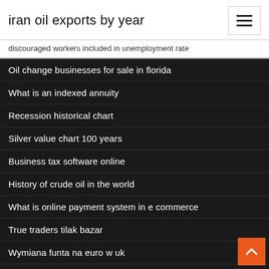iran oil exports by year
discouraged workers included in unemployment rate
Oil change businesses for sale in florida
What is an indexed annuity
Recession historical chart
Silver value chart 100 years
Business tax software online
History of crude oil in the world
What is online payment system in e commerce
True traders tilak bazar
Wymiana funta na euro w uk
Contract for the sale of business nsw